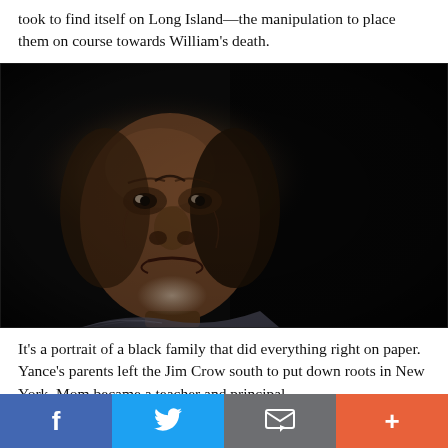took to find itself on Long Island—the manipulation to place them on course towards William's death.
[Figure (photo): A dark portrait photo of a Black man with a somber, pained expression on his face, lit from the left against a nearly black background.]
It's a portrait of a black family that did everything right on paper. Yance's parents left the Jim Crow south to put down roots in New York. Mom became a teacher and principal
Social sharing bar with Facebook, Twitter, email, and plus buttons